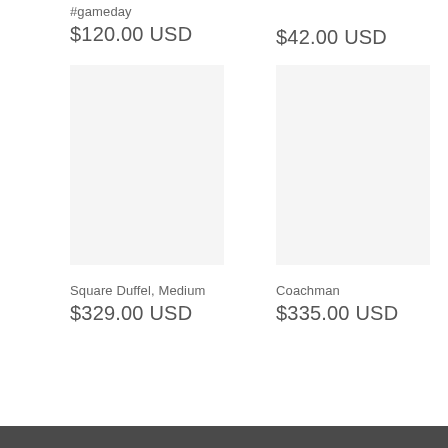#gameday
$120.00 USD
$42.00 USD
[Figure (other): Product image placeholder left column]
[Figure (other): Product image placeholder right column]
Square Duffel, Medium
$329.00 USD
Coachman
$335.00 USD